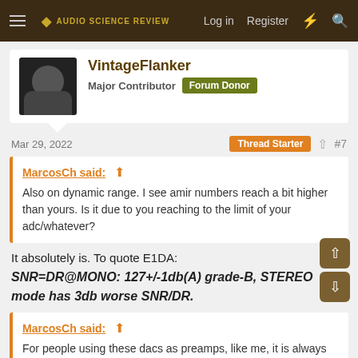Audio Science Review — Log in | Register
VintageFlanker
Major Contributor  Forum Donor
Mar 29, 2022  Thread Starter  #7
MarcosCh said: ↑
Also on dynamic range. I see amir numbers reach a bit higher than yours. Is it due to you reaching to the limit of your adc/whatever?
It absolutely is. To quote E1DA:
SNR=DR@MONO: 127+/-1db(A) grade-B, STEREO mode has 3db worse SNR/DR.
MarcosCh said: ↑
For people using these dacs as preamps, like me, it is always nice to see the Dynamic range vs vol graph. Is it possible to get it with your setup?
Not quite. I could not run these tests directly with such basic